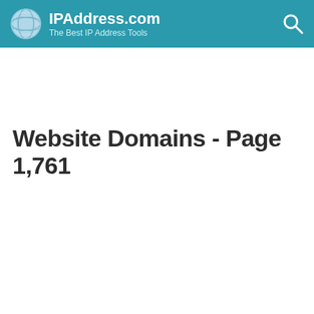IPAddress.com — The Best IP Address Tools
Website Domains - Page 1,761